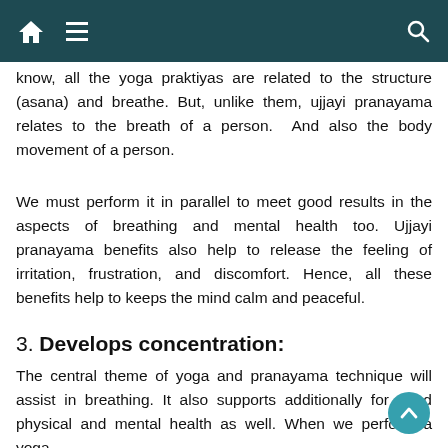Navigation bar with home, menu, and search icons
know, all the yoga praktiyas are related to the structure (asana) and breathe. But, unlike them, ujjayi pranayama relates to the breath of a person.  And also the body movement of a person.
We must perform it in parallel to meet good results in the aspects of breathing and mental health too. Ujjayi pranayama benefits also help to release the feeling of irritation, frustration, and discomfort. Hence, all these benefits help to keeps the mind calm and peaceful.
3. Develops concentration:
The central theme of yoga and pranayama technique will assist in breathing. It also supports additionally for good physical and mental health as well. When we perform a yoga